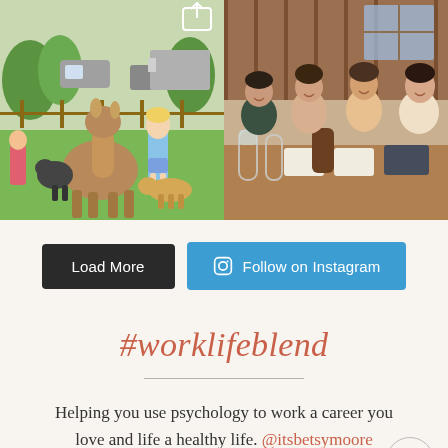[Figure (photo): Child standing near llama/alpaca and other animals on green grass, with cars and a trailer in background]
[Figure (photo): Four girls sitting at a restaurant table smiling, with drinks and menus on the table]
Load More
Follow on Instagram
#worklifeblend
Helping you use psychology to work a career you love and life a healthy life. @itsbetsymoore